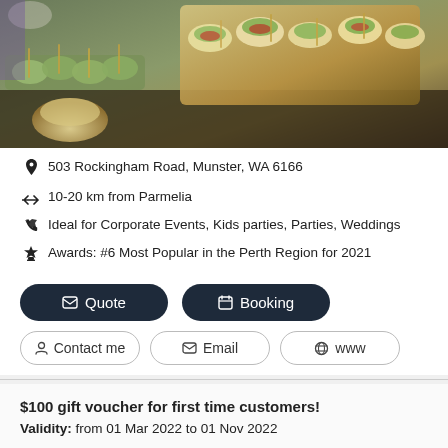[Figure (photo): Photo of catering food spread — appetizers, finger foods on trays, spring rolls, and bowl in foreground on a dark table]
503 Rockingham Road, Munster, WA 6166
10-20 km from Parmelia
Ideal for Corporate Events, Kids parties, Parties, Weddings
Awards: #6 Most Popular in the Perth Region for 2021
Quote
Booking
Contact me
Email
www
$100 gift voucher for first time customers!
Validity: from 01 Mar 2022 to 01 Nov 2022
First time you book catering services with us? We can give you a special thank you gift of $100 towards your first catering booking with us. Terms & Conditions apply. Minimum of $500 spend. Delivery fees apply for...